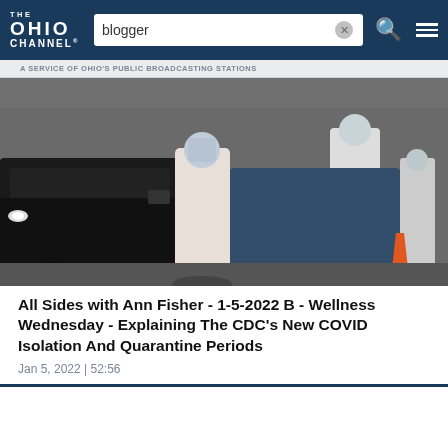THE OHIO CHANNEL — blogger [search bar] — menu
A SERVICE OF OHIO'S PUBLIC BROADCASTING STATIONS
[Figure (photo): Healthcare workers in full white PPE hazmat suits administering COVID-19 tests at a drive-through testing site. Cars lined up with workers leaning into car windows. An orange traffic cone visible in the foreground right.]
All Sides with Ann Fisher - 1-5-2022 B - Wellness Wednesday - Explaining The CDC's New COVID Isolation And Quarantine Periods
Jan 5, 2022 | 52:56